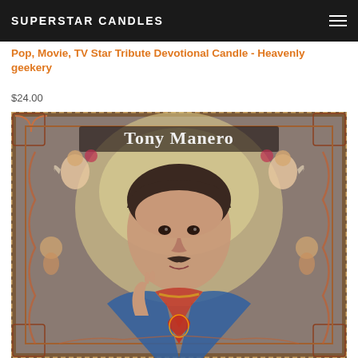SUPERSTAR CANDLES
Pop, Movie, TV Star Tribute Devotional Candle - Heavenly geekery
$24.00
[Figure (photo): Product image of a Tony Manero devotional candle featuring a religious-style illustration with 'Tony Manero' written in gothic lettering at the top, showing a man with dark hair in a sacred heart style portrait surrounded by angels and decorative borders]